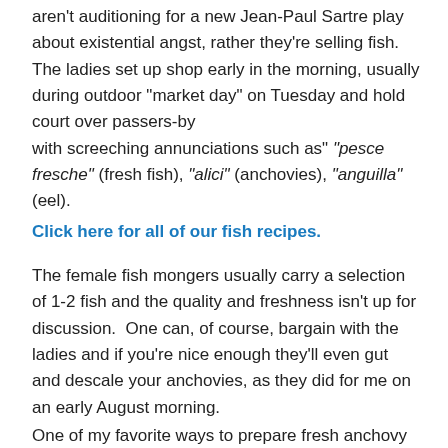aren't auditioning for a new Jean-Paul Sartre play about existential angst, rather they're selling fish.  The ladies set up shop early in the morning, usually during outdoor "market day" on Tuesday and hold court over passers-by with screeching annunciations such as" “pesce fresche” (fresh fish), “alici” (anchovies), “anguilla” (eel).
Click here for all of our fish recipes.
The female fish mongers usually carry a selection of 1-2 fish and the quality and freshness isn't up for discussion.  One can, of course, bargain with the ladies and if you're nice enough they'll even gut and descale your anchovies, as they did for me on an early August morning.
One of my favorite ways to prepare fresh anchovy is via curing or marinating white anchovies (alici fresche marinate) in lemon juice, garlic, parsley, sea salt, freshly ground pepper, red pepper flake, and extra virgin olive oil.  The Spanish call this dish boquerones and utilize white vinegar instead of lemon juice.  The acid and salt in the marinade will cook the fish and preserve their delicate meat